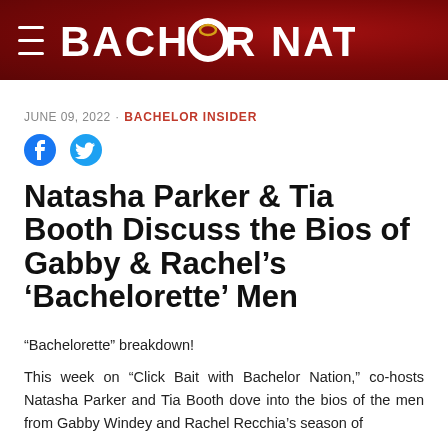BACHELOR NATION
JUNE 09, 2022 · BACHELOR INSIDER
[Figure (illustration): Facebook and Twitter social share icons]
Natasha Parker & Tia Booth Discuss the Bios of Gabby & Rachel's 'Bachelorette' Men
“Bachelorette” breakdown!
This week on “Click Bait with Bachelor Nation,” co-hosts Natasha Parker and Tia Booth dove into the bios of the men from Gabby Windey and Rachel Recchia’s season of